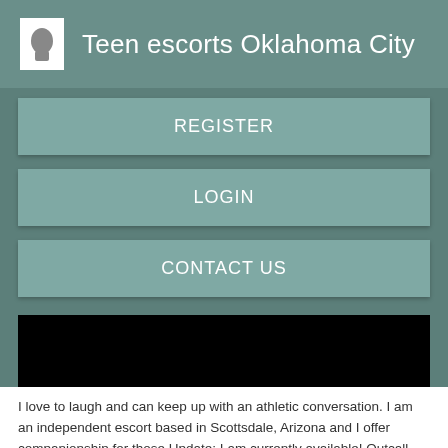Teen escorts Oklahoma City
REGISTER
LOGIN
CONTACT US
[Figure (photo): Black image area, likely a photo placeholder or redacted image]
I love to laugh and can keep up with an athletic conversation. I am an independent escort based in Scottsdale, Arizona and I offer companionship for those Update: I am currently available! Outcall Hotel visits only Home visits only Hotel and home visits Other. I know my worth and when you call me, I'll make it worth your while. Mowst Millions. Engaging conversation. London